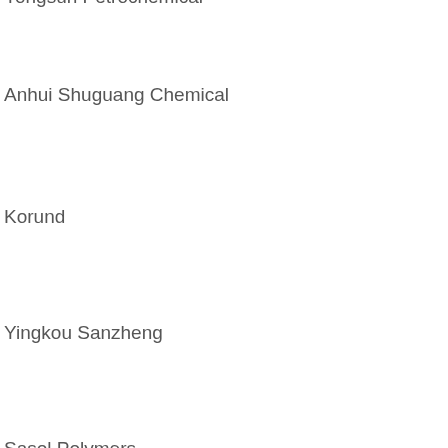Yongsun Petrochemical
Anhui Shuguang Chemical
Korund
Yingkou Sanzheng
Sasol Polymers
Unique Chemical
Tiande Chemical
Lukoil
Hebei Chengxin